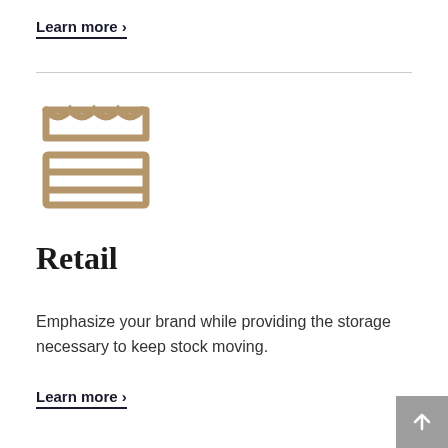Learn more >
[Figure (illustration): Store/retail shop icon in tan/gold color, showing a storefront with awning and shelves below]
Retail
Emphasize your brand while providing the storage necessary to keep stock moving.
Learn more >